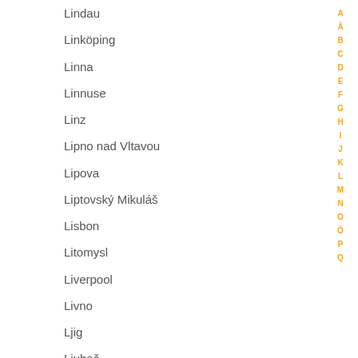Lindau
Linköping
Linna
Linnuse
Linz
Lipno nad Vltavou
Lipova
Liptovský Mikuláš
Lisbon
Litomysl
Liverpool
Livno
Ljig
Ljubač
Ljubljana